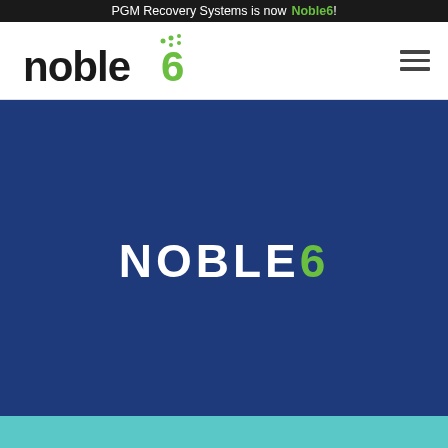PGM Recovery Systems is now Noble6!
[Figure (logo): Noble6 company logo with stylized 'noble6' text in black and green with dot pattern above the 6]
[Figure (logo): NOBLE6 wordmark in white with green '6' centered on dark blue hero background]